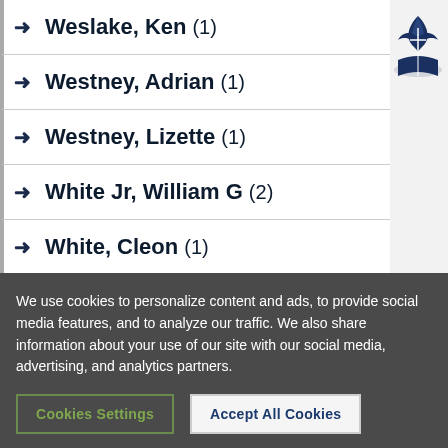Weslake, Ken (1)
Westney, Adrian (1)
Westney, Lizette (1)
White Jr, William G (2)
White, Cleon (1)
White, Ellen G (2)
Wieland, Nicola (1)
[Figure (logo): Seventh-day Adventist church logo — stylized flame and cross with open book, dark blue]
We use cookies to personalize content and ads, to provide social media features, and to analyze our traffic. We also share information about your use of our site with our social media, advertising, and analytics partners.
Cookies Settings | Accept All Cookies